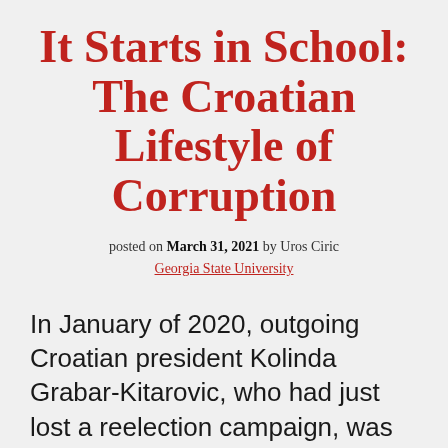It Starts in School: The Croatian Lifestyle of Corruption
posted on March 31, 2021 by Uros Ciric
Georgia State University
In January of 2020, outgoing Croatian president Kolinda Grabar-Kitarovic, who had just lost a reelection campaign, was asked